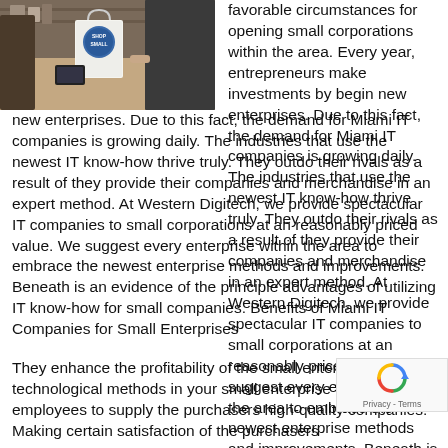[Figure (photo): A photo of a person at a store counter with a 'Shop Small' branded bag visible]
favorable circumstances for opening small corporations within the area. Every year, entrepreneurs make investments by begin new enterprises. Due to this fact, the demand for Miami IT companies is growing daily. The industries that use the newest IT know-how thrive truly. They outdo their rivals as a result of they provide their companies and merchandise in an expert method. At Western Digitech, we provide spectacular IT companies to small corporations at an reasonably priced value. We suggest every enterprise within the area to embrace the newest enterprise methods and improvements. Beneath is an evidence of the principle advantages of utilizing IT know-how for small companies. Benefits of Miami IT Companies for Small Enterprises
They enhance the profitability of the small enterprise efficient technological methods in your small enterprise the employees to supply the purchasers high-quality companies. Making certain satisfaction of the purchasers